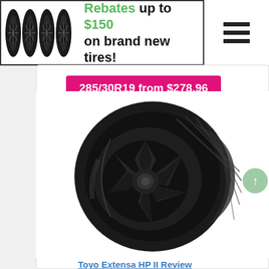[Figure (infographic): Banner advertisement with four black alloy wheels/tires on the left and text reading 'Rebates up to $150 on brand new tires!' with a hamburger menu icon on the right]
285/30R19 from $278.96
[Figure (photo): Product photo of a Toyo Extensa HP II tire mounted on a black multi-spoke alloy wheel, shown at an angle on a white background]
Toyo Extensa HP II Review